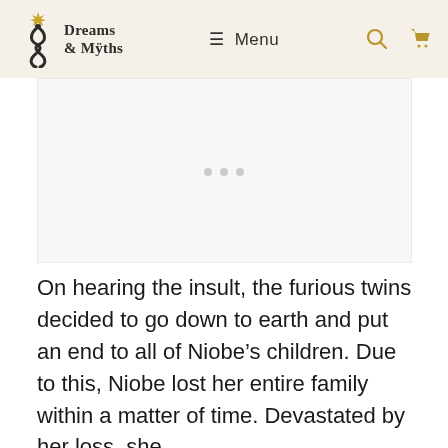Dreams & Myths — Menu
[Figure (other): Blank image/carousel placeholder with three pagination dots below]
On hearing the insult, the furious twins decided to go down to earth and put an end to all of Niobe's children. Due to this, Niobe lost her entire family within a matter of time. Devastated by her loss, she